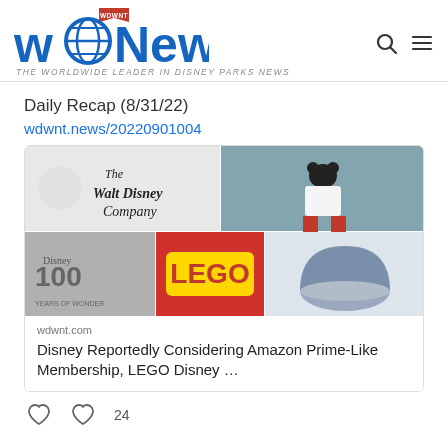[Figure (logo): WDW News Today logo with globe icon, flag banner reading WDWNT, and blue stylized text. Tagline: THE WORLDWIDE LEADER IN DISNEY PARKS NEWS]
Daily Recap (8/31/22)
wdwnt.news/20220901004
[Figure (photo): Collage of four Disney-related images: top-left shows The Walt Disney Company logo with Mickey Mouse, top-right shows Mickey Mouse performer at a park, bottom-left shows Disney 100 Years of Wonder logo with Minnie and Mickey, bottom-right shows LEGO Disney set and a Disney-themed pet bed product.]
wdwnt.com
Disney Reportedly Considering Amazon Prime-Like Membership, LEGO Disney …
24